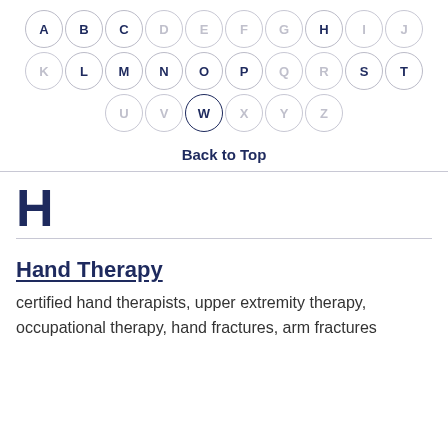[Figure (other): Alphabetical navigation circles, rows 1-3: A B C D E F G H I J / K L M N O P Q R S T / U V W X Y Z with W highlighted/active]
Back to Top
H
Hand Therapy
certified hand therapists, upper extremity therapy, occupational therapy, hand fractures, arm fractures